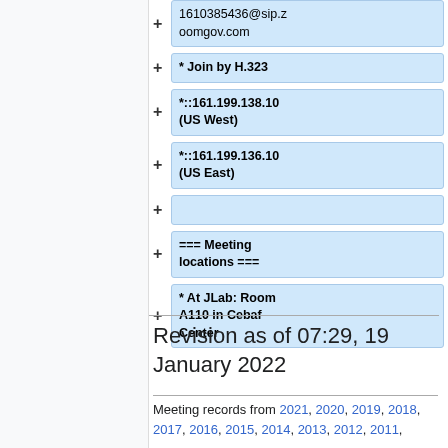+ 1610385436@sip.zoomgov.com
+ * Join by H.323
+ *::161.199.138.10 (US West)
+ *::161.199.136.10 (US East)
+
+ === Meeting locations ===
+ * At JLab: Room A110 in Cebaf Center
Revision as of 07:29, 19 January 2022
Meeting records from 2021, 2020, 2019, 2018, 2017, 2016, 2015, 2014, 2013, 2012, 2011,